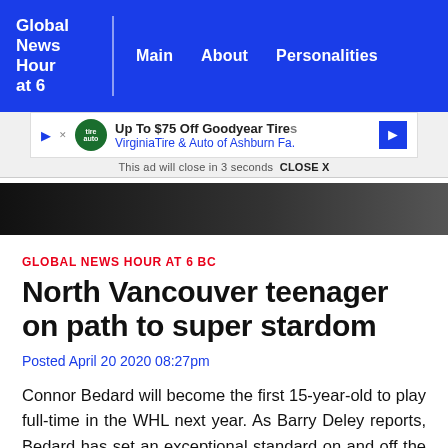Global News Hour at 6 | Main | About | Personalities
[Figure (screenshot): Advertisement banner: Up To $75 Off Goodyear Tires – VirginiaTire & Auto of Ashburn Fa. This ad will close in 3 seconds CLOSE X]
[Figure (photo): Dark photo strip, partial image of a person]
GLOBAL NEWS HOUR AT 6 BC
North Vancouver teenager on path to super stardom
Posted April 20 2020 08:27pm
Connor Bedard will become the first 15-year-old to play full-time in the WHL next year. As Barry Deley reports, Bedard has set an exceptional standard on and off the ice his entire young life.